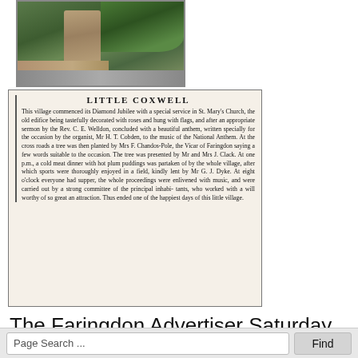[Figure (photo): Photograph of Little Coxwell village scene showing stone monument or gate, stone wall, road, and trees in background.]
[Figure (screenshot): Newspaper clipping from The Faringdon Advertiser with heading 'LITTLE COXWELL' describing the village's Diamond Jubilee celebrations including a church service, tree planting by Mrs F. Chandos-Pole, cold meat dinner, sports, and supper.]
The Faringdon Advertiser Saturday 26th June 1897 reported the planting of this tree during the village's celebrations to commemorate Queen